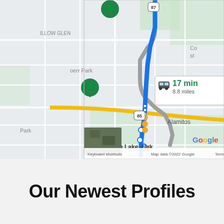[Figure (map): Google Maps screenshot showing a driving route from a starting point near Willow Glen/Bern Park to Almaden Lake Park. The selected route (blue) shows 17 min / 8.8 miles. An alternate route (gray) shows 23 min / 9.9 miles. Map labels include WILLOW GLEN, Bern Park, Alamitos, Almaden Lake Park, highway markers 87 and 85. Bottom bar shows: Keyboard shortcuts, Map data ©2022 Google, Terms of Use. Zoom controls (+/−) are visible on the right side.]
Our Newest Profiles